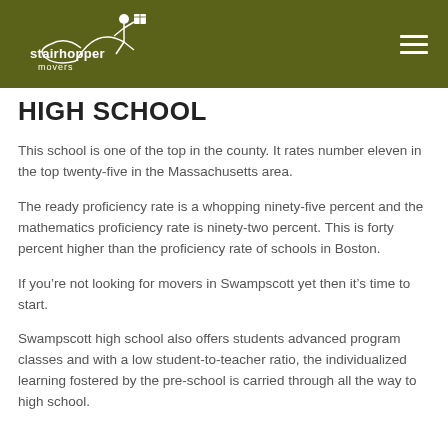[Figure (logo): Stairhopper Movers logo — white illustration of a character jumping with a box, text 'stairhopper movers' in white on olive/dark green header background]
HIGH SCHOOL
This school is one of the top in the county. It rates number eleven in the top twenty-five in the Massachusetts area.
The ready proficiency rate is a whopping ninety-five percent and the mathematics proficiency rate is ninety-two percent. This is forty percent higher than the proficiency rate of schools in Boston.
If you’re not looking for movers in Swampscott yet then it’s time to start.
Swampscott high school also offers students advanced program classes and with a low student-to-teacher ratio, the individualized learning fostered by the pre-school is carried through all the way to high school.